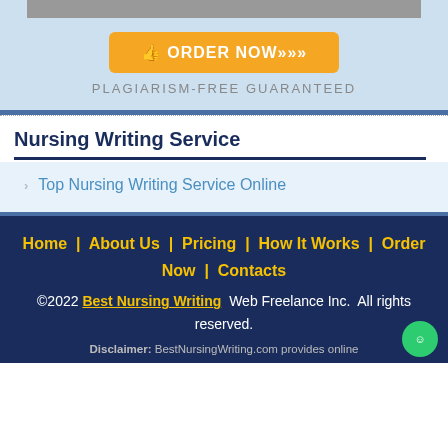[Figure (screenshot): Gray banner bar at top of page]
ORDER NOW>>>
PLAGIARISM-FREE GUARANTEED
Nursing Writing Service
Top Nursing Writing Service Online
Home | About Us | Pricing | How It Works | Order Now | Contacts
©2022 Best Nursing Writing Web Freelance Inc. All rights reserved.
Disclaimer: BestNursingWriting.com provides online